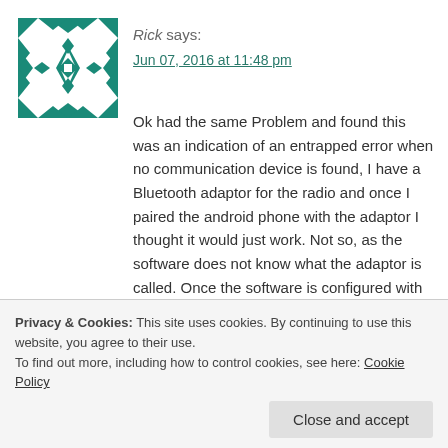[Figure (illustration): Avatar icon: teal/green geometric quilt pattern on white background]
Rick says:
Jun 07, 2016 at 11:48 pm
Ok had the same Problem and found this was an indication of an entrapped error when no communication device is found, I have a Bluetooth adaptor for the radio and once I paired the android phone with the adaptor I thought it would just work. Not so, as the software does not know what the adaptor is called. Once the software is configured with the same baud as the radio (as shown in the manual) hold the off button in the software at the top left of the screen and the software will scan for the connection device in my
Privacy & Cookies: This site uses cookies. By continuing to use this website, you agree to their use.
To find out more, including how to control cookies, see here: Cookie Policy
Close and accept